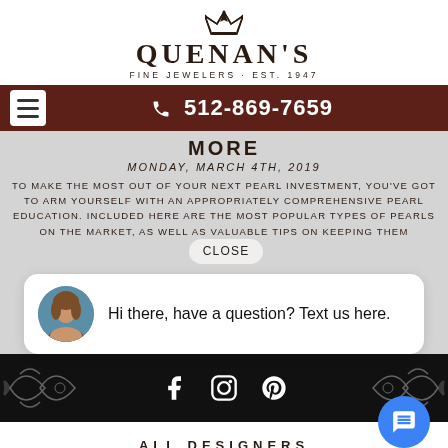[Figure (logo): Quenan's Fine Jewelers logo with crown icon, large serif text QUENAN'S, and tagline FINE JEWELERS · EST. 1947]
☎ 512-869-7659
MORE
MONDAY, MARCH 4TH, 2019
TO MAKE THE MOST OUT OF YOUR NEXT PEARL INVESTMENT, YOU'VE GOT TO ARM YOURSELF WITH AN APPROPRIATELY COMPREHENSIVE PEARL EDUCATION. INCLUDED HERE ARE THE MOST POPULAR TYPES OF PEARLS ON THE MARKET, AS WELL AS VALUABLE TIPS ON KEEPING THEM
[Figure (photo): Chat popup with avatar photo of woman and text: Hi there, have a question? Text us here.]
Social icons: Facebook, Instagram, Pinterest
ALL DESIGNERS